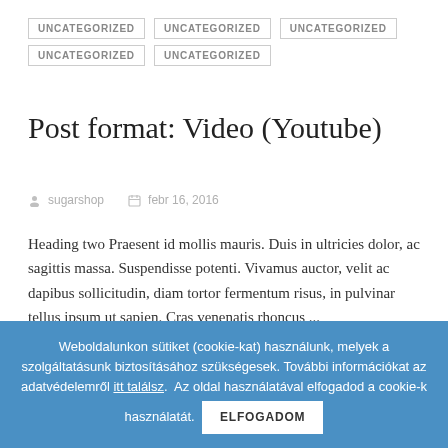UNCATEGORIZED UNCATEGORIZED UNCATEGORIZED UNCATEGORIZED UNCATEGORIZED
Post format: Video (Youtube)
sugarshop   febr 16, 2016
Heading two Praesent id mollis mauris. Duis in ultricies dolor, ac sagittis massa. Suspendisse potenti. Vivamus auctor, velit ac dapibus sollicitudin, diam tortor fermentum risus, in pulvinar tellus ipsum ut sapien. Cras venenatis rhoncus ...
Read more
Search
Weboldalunkon sütiket (cookie-kat) használunk, melyek a szolgáltatásunk biztosításához szükségesek. További információkat az adatvédelemről itt találsz. Az oldal használatával elfogadod a cookie-k használatát. ELFOGADOM